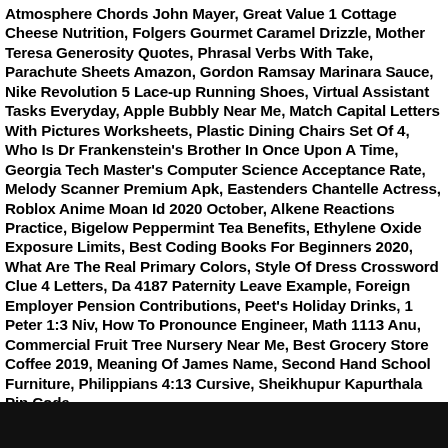Atmosphere Chords John Mayer, Great Value 1 Cottage Cheese Nutrition, Folgers Gourmet Caramel Drizzle, Mother Teresa Generosity Quotes, Phrasal Verbs With Take, Parachute Sheets Amazon, Gordon Ramsay Marinara Sauce, Nike Revolution 5 Lace-up Running Shoes, Virtual Assistant Tasks Everyday, Apple Bubbly Near Me, Match Capital Letters With Pictures Worksheets, Plastic Dining Chairs Set Of 4, Who Is Dr Frankenstein's Brother In Once Upon A Time, Georgia Tech Master's Computer Science Acceptance Rate, Melody Scanner Premium Apk, Eastenders Chantelle Actress, Roblox Anime Moan Id 2020 October, Alkene Reactions Practice, Bigelow Peppermint Tea Benefits, Ethylene Oxide Exposure Limits, Best Coding Books For Beginners 2020, What Are The Real Primary Colors, Style Of Dress Crossword Clue 4 Letters, Da 4187 Paternity Leave Example, Foreign Employer Pension Contributions, Peet's Holiday Drinks, 1 Peter 1:3 Niv, How To Pronounce Engineer, Math 1113 Anu, Commercial Fruit Tree Nursery Near Me, Best Grocery Store Coffee 2019, Meaning Of James Name, Second Hand School Furniture, Philippians 4:13 Cursive, Sheikhupur Kapurthala Pin Code,